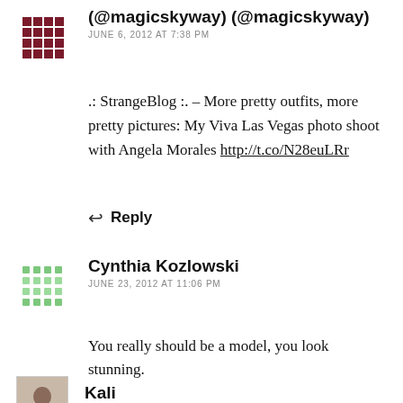(@magicskyway) (@magicskyway)
JUNE 6, 2012 AT 7:38 PM
.: StrangeBlog :. – More pretty outfits, more pretty pictures: My Viva Las Vegas photo shoot with Angela Morales http://t.co/N28euLRr
Reply
Cynthia Kozlowski
JUNE 23, 2012 AT 11:06 PM
You really should be a model, you look stunning.
Reply
Kali